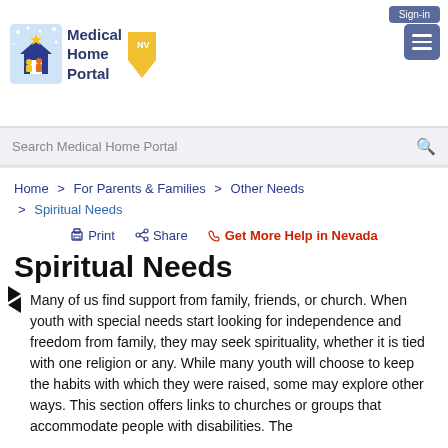Medical Home Portal NV — Sign-in
Search Medical Home Portal
Home > For Parents & Families > Other Needs > Spiritual Needs
Print  Share  Get More Help in Nevada
Spiritual Needs
Many of us find support from family, friends, or church. When youth with special needs start looking for independence and freedom from family, they may seek spirituality, whether it is tied with one religion or any. While many youth will choose to keep the habits with which they were raised, some may explore other ways. This section offers links to churches or groups that accommodate people with disabilities. The